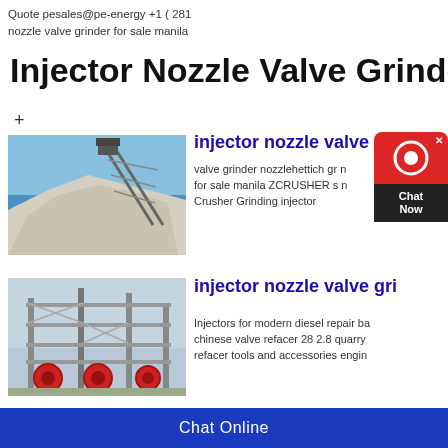Quote pesales@pe-energy +1 ( 281 nozzle valve grinder for sale manila
Injector Nozzle Valve Grinder For
+
[Figure (photo): Industrial conveyor belt structure with crushed stone/aggregate pile and blue sky background]
injector nozzle valve n
valve grinder nozzlehettich gr n for sale manila ZCRUSHER s n Crusher Grinding injector
[Figure (photo): Industrial facility with multi-story steel structure and large red circular components at the base]
injector nozzle valve gri
Injectors for modern diesel repair ba chinese valve refacer 28 2.8 quarry refacer tools and accessories engin
Chat Online